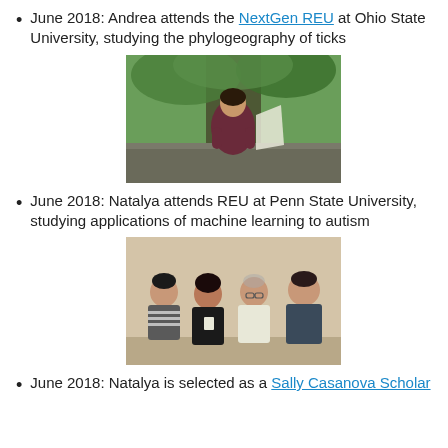June 2018: Andrea attends the NextGen REU at Ohio State University, studying the phylogeography of ticks
[Figure (photo): Person sitting outdoors near a large tree with green foliage, wearing a maroon shirt]
June 2018: Natalya attends REU at Penn State University, studying applications of machine learning to autism
[Figure (photo): Group of four people (three men and one woman) standing together indoors against a light-colored wall]
June 2018: Natalya is selected as a Sally Casanova Scholar